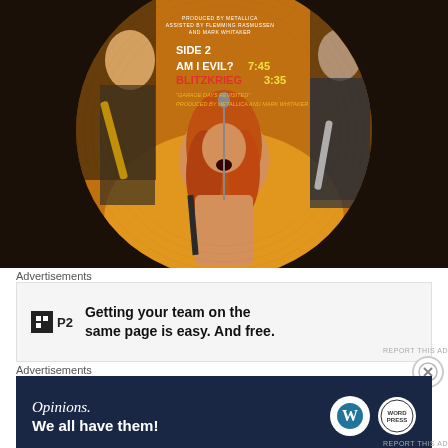[Figure (photo): A picture disc vinyl record (circular) showing Metallica band members performing on stage. The label area shows: SIDE 2, AM I EVIL? 7:45, BLITZKRIEG 3:35 (or similar), 'GARAGE DAYS REVISITED' PRODUCED BY METALLICA AND MARK WHITAKER. Background shows musicians with guitars and a shirtless vocalist with long red hair.]
Advertisements
[Figure (other): Advertisement banner: P2 logo (black square with white H icon and 'P2' text). Ad text: 'Getting your team on the same page is easy. And free.']
REPORT THIS AD
Advertisements
[Figure (other): Advertisement banner with dark navy background. Text: 'Opinions. We all have them!' with WordPress logo (W circle) and another circular logo on the right.]
REPORT THIS AD